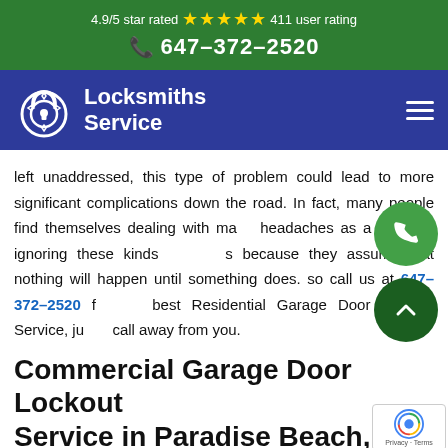4.9/5 star rated ★★★★★ 411 user rating
☎ 647-372-2520
[Figure (logo): Locksmiths Service logo with padlock icon on dark blue navbar with hamburger menu]
left unaddressed, this type of problem could lead to more significant complications down the road. In fact, many people find themselves dealing with major headaches as a result of ignoring these kinds of issues because they assume that nothing will happen until something does. so call us at 647-372-2520 for the best Residential Garage Door Lockout Service, just a call away from you.
Commercial Garage Door Lockout Service in Paradise Beach, ON